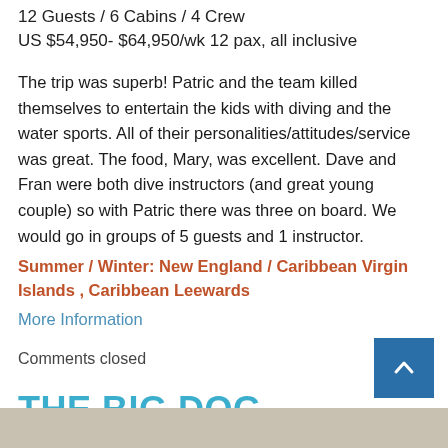12 Guests / 6 Cabins / 4 Crew
US $54,950- $64,950/wk 12 pax, all inclusive
The trip was superb! Patric and the team killed themselves to entertain the kids with diving and the water sports. All of their personalities/attitudes/service was great. The food, Mary, was excellent. Dave and Fran were both dive instructors (and great young couple) so with Patric there was three on board. We would go in groups of 5 guests and 1 instructor.
Summer / Winter: New England / Caribbean Virgin Islands , Caribbean Leewards
More Information
Comments closed
THE BIG DOG
February 1st, 2015 by Danny